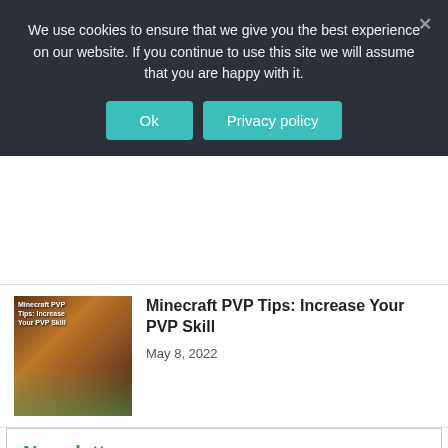We use cookies to ensure that we give you the best experience on our website. If you continue to use this site we will assume that you are happy with it.
Ok  Privacy policy
Minecraft PVP Tips: Increase Your PVP Skill
May 8, 2022
Newsletter
Subscribe to our mailing list to get the new updates!
Email *
Subscribe!